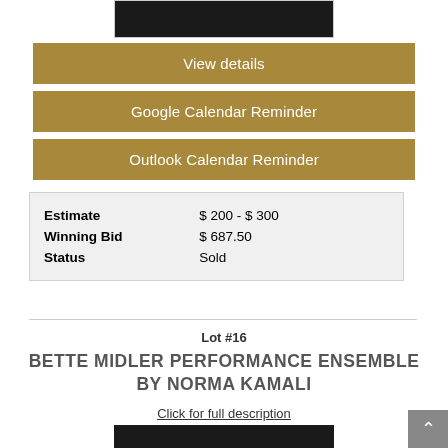[Figure (photo): Partial top image, dark/black content area]
View details
Google Calendar Reminder
Outlook Calendar Reminder
| Estimate | $ 200 - $ 300 |
| Winning Bid | $ 687.50 |
| Status | Sold |
Lot #16
BETTE MIDLER PERFORMANCE ENSEMBLE BY NORMA KAMALI
Click for full description
[Figure (photo): Partial bottom image, dark content area]